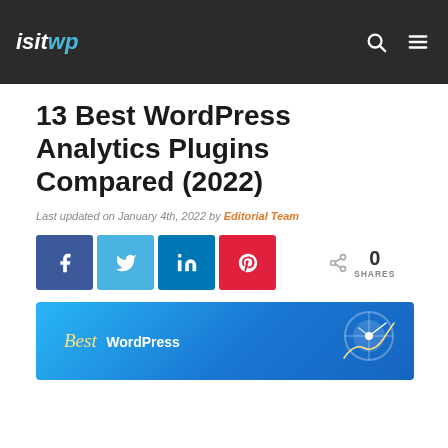isitwp
13 Best WordPress Analytics Plugins Compared (2022)
Last updated on January 4th, 2022 by Editorial Team
[Figure (other): Social sharing buttons: Facebook, Twitter, LinkedIn, Pinterest, and a share count showing 0 SHARES]
[Figure (other): Blue banner image partially visible at bottom showing 'Best WordPress' text with analytics graphics]